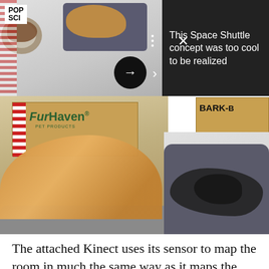[Figure (photo): Collage of dog beds and sleeping dogs including a golden retriever on a FurHaven pet bed, black dogs in a gray bed, product boxes including FurHaven Pet Products and BARK-BOX, with navigation arrows and close button overlaid. Top strip shows thumbnail carousel with POP SCI logo. Dark overlay panel top right reads 'This Space Shuttle concept was too cool to be realized'.]
The attached Kinect uses its sensor to map the room in much the same way as it maps the arrhythmically moving limbs of a Dance Central player. That ma...